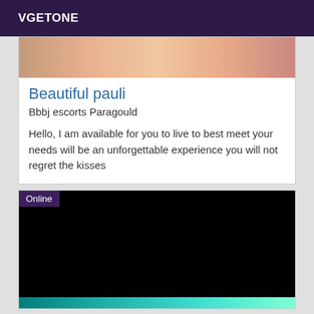VGETONE
[Figure (photo): Partial photo visible at top of card, showing skin tones in warm colors]
Beautiful pauli
Bbbj escorts Paragould
Hello, I am available for you to live to best meet your needs will be an unforgettable experience you will not regret the kisses
[Figure (photo): Black image with Online badge in top-left corner and a small teal/turquoise strip visible at the bottom]